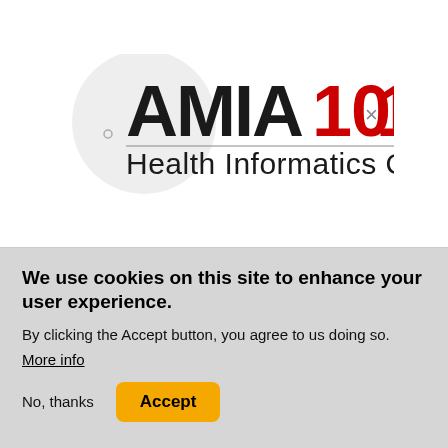[Figure (logo): AMIA 10x10 Health Informatics Online logo with circular grey watermark and AMIA text in black, 10·10 in red, and 'Health Informatics Online' tagline]
We use cookies on this site to enhance your user experience.
By clicking the Accept button, you agree to us doing so.
More info
No, thanks
Accept